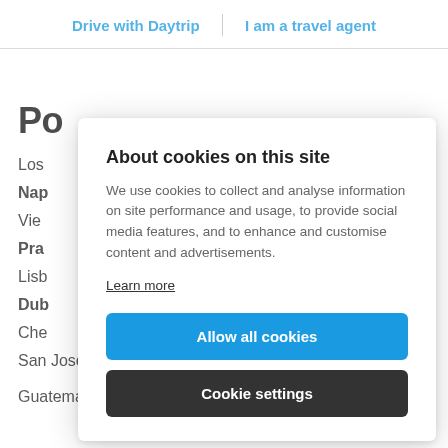Drive with Daytrip | I am a travel agent
Po
Los
Nap
Vie
Pra
Lisb
Dub
Che
San Jose to La Fortuna
Guatemala City to Panajachel
About cookies on this site
We use cookies to collect and analyse information on site performance and usage, to provide social media features, and to enhance and customise content and advertisements.
Learn more
Allow all cookies
Cookie settings